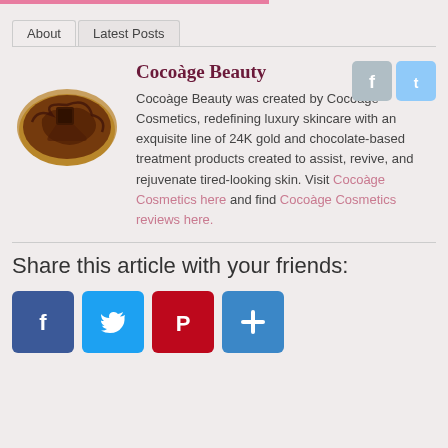About | Latest Posts
Cocoàge Beauty
Cocoàge Beauty was created by Cocoàge Cosmetics, redefining luxury skincare with an exquisite line of 24K gold and chocolate-based treatment products created to assist, revive, and rejuvenate tired-looking skin. Visit Cocoàge Cosmetics here and find Cocoàge Cosmetics reviews here.
Share this article with your friends: